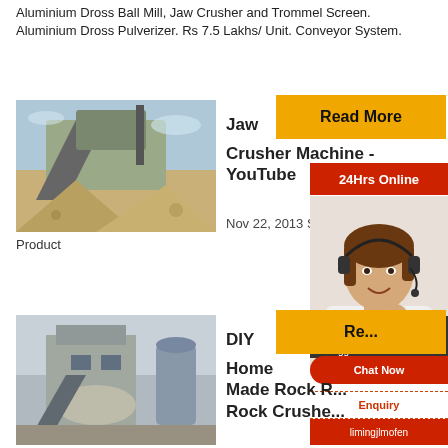Aluminium Dross Ball Mill, Jaw Crusher and Trommel Screen. Aluminium Dross Pulverizer. Rs 7.5 Lakhs/ Unit. Conveyor System.
[Figure (photo): Jaw crusher machine at a quarry site, yellow and grey equipment with conveyor and piles of gravel.]
Jaw
[Figure (other): Yellow Read More button]
Crusher Machine - YouTube
Nov 22, 2013  Sp
Product
[Figure (other): Red 24Hrs Online bar with female agent photo wearing headset]
Need questions & suggestion?
Chat Now
Enquiry
limingjlmofen
[Figure (photo): Industrial rock crushing machinery with dust, grey and silver equipment.]
DIY
Home Made Rock R... Rock Crushe...